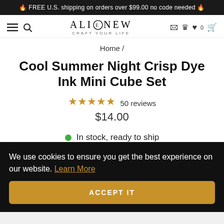🔥 FREE U.S. shipping on orders over $99.00 no code needed 🔥
[Figure (logo): Altenew logo with hamburger menu, search icon, brand name ALTENEW with craft icon, tagline CRAFT YOUR LIFE, and nav icons (stamp, crown, heart, cart)]
Home /
Cool Summer Night Crisp Dye Ink Mini Cube Set
★★★★★ 50 reviews
$14.00
In stock, ready to ship
We use cookies to ensure you get the best experience on our website. Learn More
ACCEPT IT